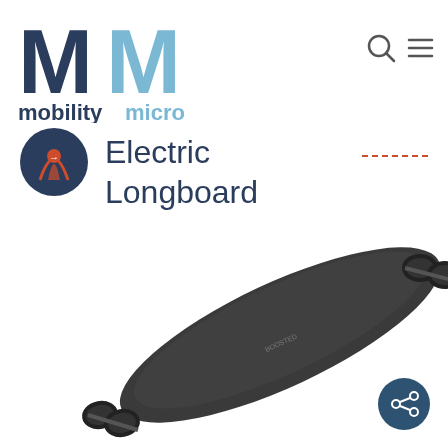[Figure (logo): Mobility Micro logo with two large M letters (dark blue and light blue) and text 'mobilitymicro' in dark blue and light blue below]
[Figure (illustration): Small circular icon with a dark background and an orange arrow/road symbol]
Electric Longboard
[Figure (photo): Electric longboard (Boosted board style) viewed from above at an angle, dark grey/black deck with black wheels on both ends, white background]
[Figure (other): Search icon (magnifying glass) and hamburger menu icon in the top right corner]
[Figure (other): Dashed orange/coral horizontal line decoration]
[Figure (other): Dark blue circular share button with share icon in the bottom right corner]